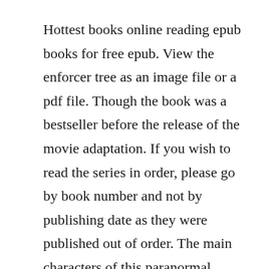Hottest books online reading epub books for free epub. View the enforcer tree as an image file or a pdf file. Though the book was a bestseller before the release of the movie adaptation. If you wish to read the series in order, please go by book number and not by publishing date as they were published out of order. The main characters of this paranormal, vampires story are poppy north, ash redfern. Set during the reign of king george ii, this gruesome tale concerns the persecution of the bannerworth family by sir francis varney, a